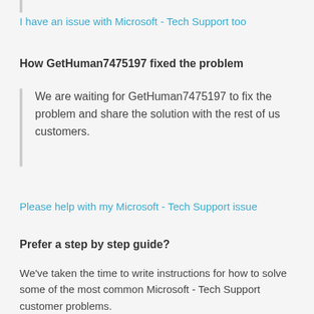I have an issue with Microsoft - Tech Support too
How GetHuman7475197 fixed the problem
We are waiting for GetHuman7475197 to fix the problem and share the solution with the rest of us customers.
Please help with my Microsoft - Tech Support issue
Prefer a step by step guide?
We've taken the time to write instructions for how to solve some of the most common Microsoft - Tech Support customer problems.